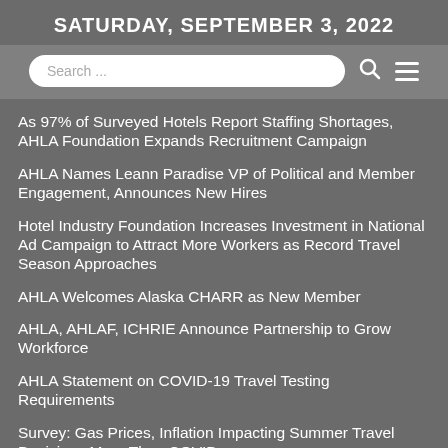SATURDAY, SEPTEMBER 3, 2022
As 97% of Surveyed Hotels Report Staffing Shortages, AHLA Foundation Expands Recruitment Campaign
AHLA Names Leann Paradise VP of Political and Member Engagement, Announces New Hires
Hotel Industry Foundation Increases Investment in National Ad Campaign to Attract More Workers as Record Travel Season Approaches
AHLA Welcomes Alaska CHARR as New Member
AHLA, AHLAF, ICHRIE Announce Partnership to Grow Workforce
AHLA Statement on COVID-19 Travel Testing Requirements
Survey: Gas Prices, Inflation Impacting Summer Travel Decisions More Than COVID
Hospitality's Recruitment Issues Need Short- and Long-Term